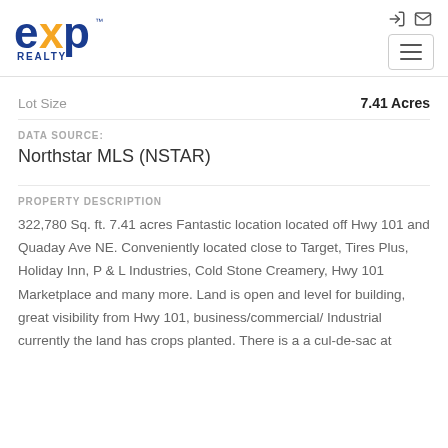[Figure (logo): eXp Realty logo with blue 'exp' text and orange 'x' accent, with 'REALTY' below]
Lot Size	7.41 Acres
DATA SOURCE:
Northstar MLS (NSTAR)
PROPERTY DESCRIPTION
322,780 Sq. ft. 7.41 acres Fantastic location located off Hwy 101 and Quaday Ave NE. Conveniently located close to Target, Tires Plus, Holiday Inn, P & L Industries, Cold Stone Creamery, Hwy 101 Marketplace and many more. Land is open and level for building, great visibility from Hwy 101, business/commercial/ Industrial currently the land has crops planted. There is a a cul-de-sac at